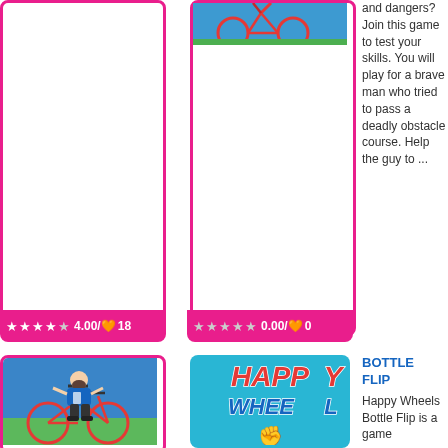[Figure (screenshot): Game card top-left with pink border, empty white content area]
[Figure (screenshot): Game card top-right with pink border, bicycle/cycling game screenshot at top in blue background]
and dangers? Join this game to test your skills. You will play for a brave man who tried to pass a deadly obstacle course. Help the guy to ...
4.00/5 18
0.00/5 0
[Figure (screenshot): Bottom-left game card showing a character with bicycle on blue/green background]
[Figure (screenshot): Happy Wheels game card with colorful text HAPPY WHEELS and fist graphic on blue background]
BOTTLE FLIP
Happy Wheels Bottle Flip is a game